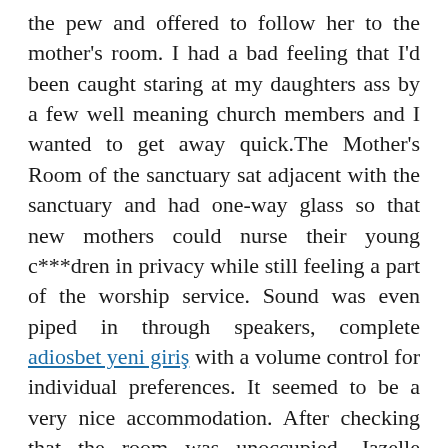the pew and offered to follow her to the mother's room. I had a bad feeling that I'd been caught staring at my daughters ass by a few well meaning church members and I wanted to get away quick.The Mother's Room of the sanctuary sat adjacent with the sanctuary and had one-way glass so that new mothers could nurse their young c***dren in privacy while still feeling a part of the worship service. Sound was even piped in through speakers, complete adiosbet yeni giriş with a volume control for individual preferences. It seemed to be a very nice accommodation. After checking that the room was unoccupied, Jazelle motioned me to follow her into the dimly lit room. I followed obediently and placed her changing bag on the floor next to the couch.Jazelle laid little unhappy Jasmine on the couch and sat down next to her.I watched without thinking as Jazelle shoveled out of the left shoulder of her dress, reached in to her loose blouse top with both hands and very gently pulled out a large rounded breast. I was transfixed…